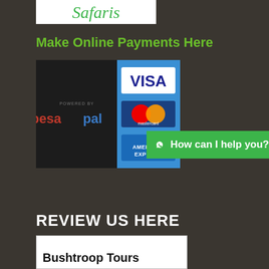[Figure (logo): Safaris logo in green cursive script on white background]
Make Online Payments Here
[Figure (infographic): Payment widget showing Pesapal logo on dark background alongside Visa, Mastercard, and American Express card logos on blue background]
[Figure (infographic): Green WhatsApp button with chat icon and text 'How can I help you?']
REVIEW US HERE
[Figure (infographic): White review box with text 'Bushtroop Tours']